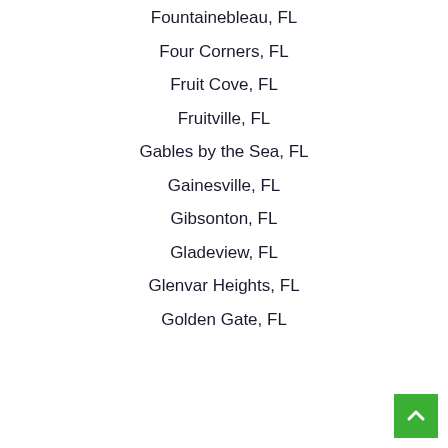Fountainebleau, FL
Four Corners, FL
Fruit Cove, FL
Fruitville, FL
Gables by the Sea, FL
Gainesville, FL
Gibsonton, FL
Gladeview, FL
Glenvar Heights, FL
Golden Gate, FL